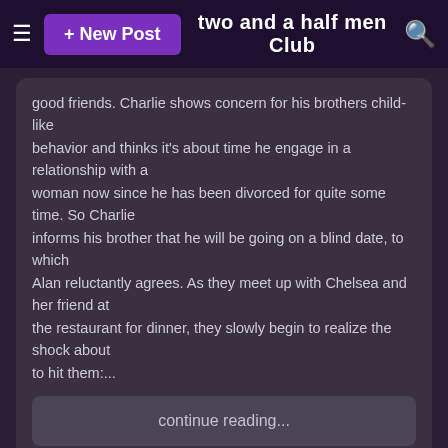+ New Post   two and a half men Club
good friends. Charlie shows concern for his brothers child-like
behavior and thinks it's about time he engage in a relationship with a
woman now since he has been divorced for quite some time. So Charlie
informs his brother that he will be going on a blind date, to which
Alan reluctantly agrees. As they meet up with Chelsea and her friend at
the restaurant for dinner, they slowly begin to realize the shock about
to hit them:...
continue reading...
we want charlie sheen back
posted by wahidullah
Hi , i am wahidullah from Afghanistan i recently bought (two and half men) eight seasons in dvds and i just loved it too much i am watching 5 to 7 episodes a night its wonderful my favorit character is { charlie sheen } as charlie harper he is the foundation of the tampil a great actor and comedian and secondly my